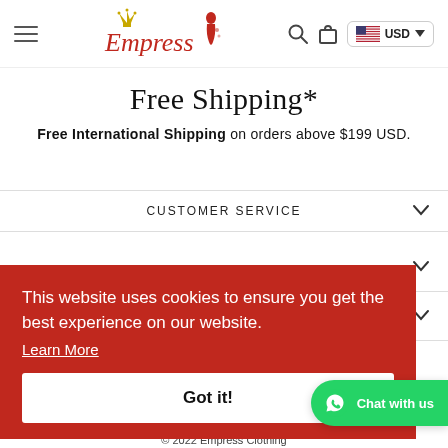[Figure (logo): Empress Clothing logo with crown and decorative script, navigation bar with hamburger menu, search icon, shopping bag icon, and USD currency selector with US flag]
Free Shipping*
Free International Shipping on orders above $199 USD.
CUSTOMER SERVICE
This website uses cookies to ensure you get the best experience on our website.
Learn More
Got it!
Chat with us
© 2022 Empress Clothing